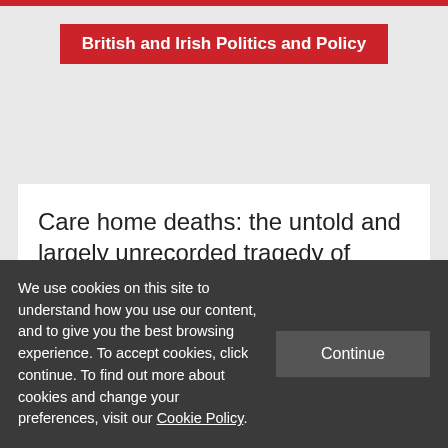British and Irish Politics and Policy
Care home deaths: the untold and largely unrecorded tragedy of COVID-19
We use cookies on this site to understand how you use our content, and to give you the best browsing experience. To accept cookies, click continue. To find out more about cookies and change your preferences, visit our Cookie Policy.